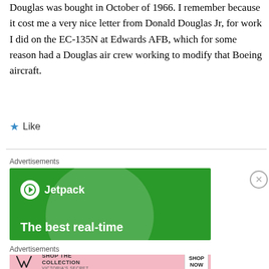Douglas was bought in October of 1966. I remember because it cost me a very nice letter from Donald Douglas Jr, for work I did on the EC-135N at Edwards AFB, which for some reason had a Douglas air crew working to modify that Boeing aircraft.
★ Like
Advertisements
[Figure (screenshot): Jetpack advertisement on green background with circle graphic and text 'The best real-time']
Advertisements
[Figure (screenshot): Victoria's Secret advertisement with pink background, VS logo, 'SHOP THE COLLECTION', and 'SHOP NOW' button]